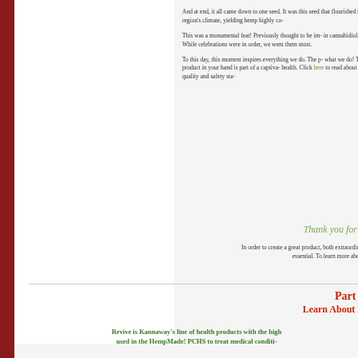And at end, it all came down to one seed. It was this seed that flourished in the region's climate, yielding hemp highly co...
This was a monumental feat! Previously thought to be im... in cannabidiol. While celebrations were in order, we went... them most.
To this day, this moment inspires everything we do. The p... what we do! The product in your hand is part of a captiva... health. Click here to read about our quality and safety sta...
Thank you for b...
In order to create a great product, both extraordina... essential. To learn more abou...
Part 4
Learn About R...
Revive is Kannaway's line of health products with the high... used in the HempMade! PCHS to treat medical conditi...